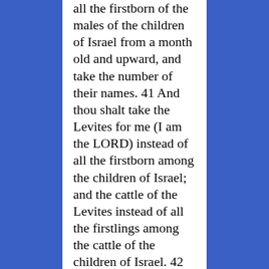all the firstborn of the males of the children of Israel from a month old and upward, and take the number of their names. 41 And thou shalt take the Levites for me (I am the LORD) instead of all the firstborn among the children of Israel; and the cattle of the Levites instead of all the firstlings among the cattle of the children of Israel. 42 And Moses numbered, as the LORD commanded him, all the firstborn among the children of Israel. 43 And all the